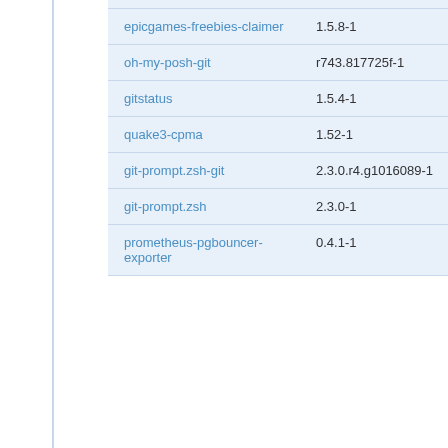| Package | Version | Count | Score |
| --- | --- | --- | --- |
| epicgames-freebies-claimer | 1.5.8-1 | 1 | 0.00 |
| oh-my-posh-git | r743.817725f-1 | 1 | 0.00 |
| gitstatus | 1.5.4-1 | 4 | 0.00 |
| quake3-cpma | 1.52-1 | 26 | 0.00 |
| git-prompt.zsh-git | 2.3.0.r4.g1016089-1 | 1 | 0.00 |
| git-prompt.zsh | 2.3.0-1 | 3 | 0.00 |
| prometheus-pgbouncer-exporter | 0.4.1-1 | 1 | 0.00 |